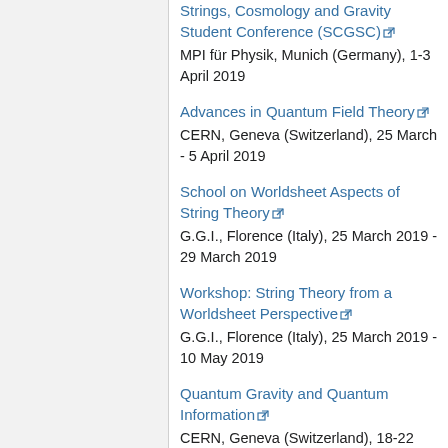Strings, Cosmology and Gravity Student Conference (SCGSC)
MPI für Physik, Munich (Germany), 1-3 April 2019
Advances in Quantum Field Theory
CERN, Geneva (Switzerland), 25 March - 5 April 2019
School on Worldsheet Aspects of String Theory
G.G.I., Florence (Italy), 25 March 2019 - 29 March 2019
Workshop: String Theory from a Worldsheet Perspective
G.G.I., Florence (Italy), 25 March 2019 - 10 May 2019
Quantum Gravity and Quantum Information
CERN, Geneva (Switzerland), 18-22 March 2019